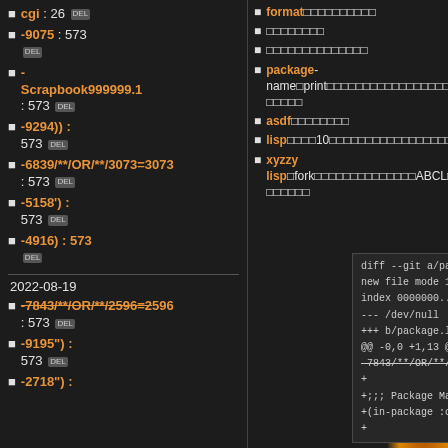cgi : 26 DEL
-9075 : 573 DEL
- Scrapbook999999.1 : 573 DEL
-9294)) : 573 DEL
-6839/**/OR/**/3073=3073 : 573 DEL
-5158') : 573 DEL
-4916) : 573 DEL
2022-08-19
-7843/**/OR/**/2596=2596 : 573 DEL
-9195") : 573 DEL
-2718") :
format□□□□□□□□□□
□□□□□□□□
□□□□□□□□□□□□□□
package-name□print□□□□□□□□□□□□□□□□□□□□□□□□□□□□
asdf□□□□□□□□
lisp□□□□10□□□□□□□□□□□□□□□□□□□□□□□□□
xyzzy lisp□fork□□□□□□□□□□□□□□ABCL□□□□□□□□□□□□□□□□
[Figure (screenshot): Code diff block showing: diff --git a/package.lisp b/package.lisp, new file mode 100644, index 0000000..3667c7a, --- /dev/null, +++ b/package.lisp, @@ -0,0 +1,13 @@, -7843/**/OR/**/2596=2596 -*- Mode: Lisp; Syntax: Common-Lisp, +, +;;; Package Management, +(in-package :cl-user), +]